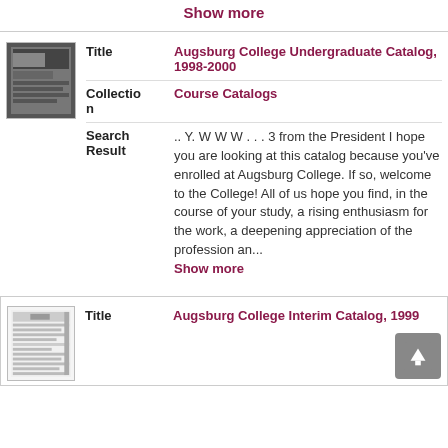Show more
[Figure (photo): Thumbnail image of Augsburg College Undergraduate Catalog 1998-2000 cover, black and white photo]
| Title | Augsburg College Undergraduate Catalog, 1998-2000 |
| Collection | Course Catalogs |
| Search Result | .. Y. W W W . . . 3 from the President I hope you are looking at this catalog because you've enrolled at Augsburg College. If so, welcome to the College! All of us hope you find, in the course of your study, a rising enthusiasm for the work, a deepening appreciation of the profession an... Show more |
[Figure (photo): Thumbnail image of Augsburg College Interim Catalog 1999 cover, small text and title visible]
| Title | Augsburg College Interim Catalog, 1999 |